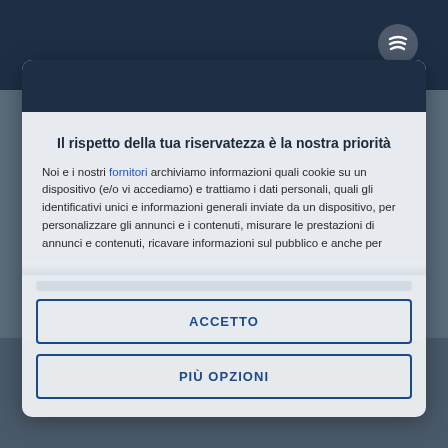[Figure (screenshot): Spotify app screenshot in background with dark navy header bar and Spotify logo icon visible in top right]
Il rispetto della tua riservatezza è la nostra priorità
Noi e i nostri fornitori archiviamo informazioni quali cookie su un dispositivo (e/o vi accediamo) e trattiamo i dati personali, quali gli identificativi unici e informazioni generali inviate da un dispositivo, per personalizzare gli annunci e i contenuti, misurare le prestazioni di annunci e contenuti, ricavare informazioni sul pubblico e anche per
ACCETTO
PIÙ OPZIONI